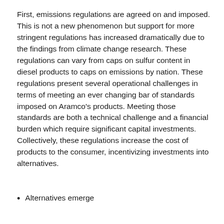First, emissions regulations are agreed on and imposed. This is not a new phenomenon but support for more stringent regulations has increased dramatically due to the findings from climate change research. These regulations can vary from caps on sulfur content in diesel products to caps on emissions by nation. These regulations present several operational challenges in terms of meeting an ever changing bar of standards imposed on Aramco's products. Meeting those standards are both a technical challenge and a financial burden which require significant capital investments. Collectively, these regulations increase the cost of products to the consumer, incentivizing investments into alternatives.
Alternatives emerge